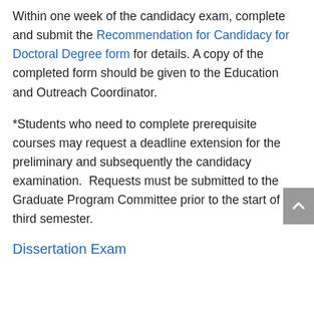Within one week of the candidacy exam, complete and submit the Recommendation for Candidacy for Doctoral Degree form for details. A copy of the completed form should be given to the Education and Outreach Coordinator.
*Students who need to complete prerequisite courses may request a deadline extension for the preliminary and subsequently the candidacy examination.  Requests must be submitted to the Graduate Program Committee prior to the start of the third semester.
Dissertation Exam